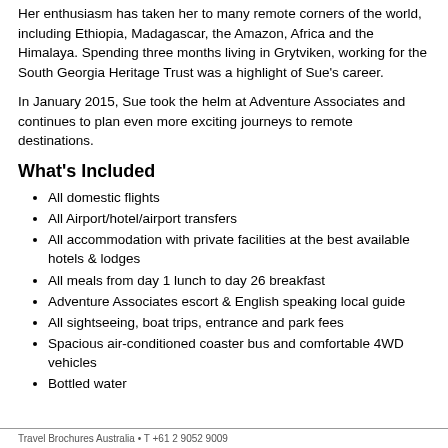Her enthusiasm has taken her to many remote corners of the world, including Ethiopia, Madagascar, the Amazon, Africa and the Himalaya. Spending three months living in Grytviken, working for the South Georgia Heritage Trust was a highlight of Sue's career.
In January 2015, Sue took the helm at Adventure Associates and continues to plan even more exciting journeys to remote destinations.
What's Included
All domestic flights
All Airport/hotel/airport transfers
All accommodation with private facilities at the best available hotels & lodges
All meals from day 1 lunch to day 26 breakfast
Adventure Associates escort & English speaking local guide
All sightseeing, boat trips, entrance and park fees
Spacious air-conditioned coaster bus and comfortable 4WD vehicles
Bottled water
Travel Brochures Australia • T +61 2 9052 9009